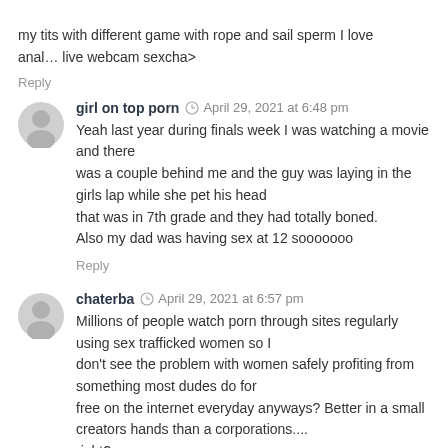my tits with different game with rope and sail sperm I love anal… live webcam sexcha>
Reply
girl on top porn  April 29, 2021 at 6:48 pm
Yeah last year during finals week I was watching a movie and there
was a couple behind me and the guy was laying in the girls lap while she pet his head
that was in 7th grade and they had totally boned.
Also my dad was having sex at 12 sooooooo
Reply
chaterba  April 29, 2021 at 6:57 pm
Millions of people watch porn through sites regularly using sex trafficked women so I
don't see the problem with women safely profiting from something most dudes do for
free on the internet everyday anyways? Better in a small creators hands than a corporations....
right?